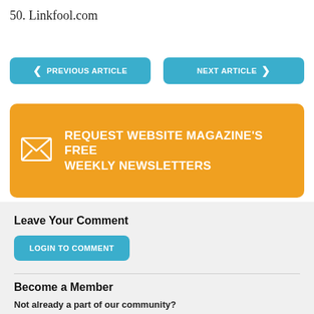50. Linkfool.com
[Figure (screenshot): Two navigation buttons: PREVIOUS ARTICLE (with left arrow) and NEXT ARTICLE (with right arrow), both in teal/blue rounded rectangle style]
[Figure (infographic): Orange banner with envelope icon and text REQUEST WEBSITE MAGAZINE'S FREE WEEKLY NEWSLETTERS]
Leave Your Comment
LOGIN TO COMMENT
Become a Member
Not already a part of our community?